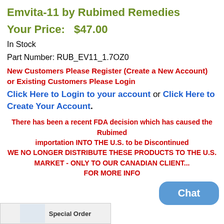Emvita-11 by Rubimed Remedies
Your Price:   $47.00
In Stock
Part Number: RUB_EV11_1.7OZ0
New Customers Please Register (Create a New Account) or Existing Customers Please Login
Click Here to Login to your account or Click Here to Create Your Account.
There has been a recent FDA decision which has caused the Rubimed importation INTO THE U.S. to be Discontinued WE NO LONGER DISTRIBUTE THESE PRODUCTS TO THE U.S. MARKET - ONLY TO OUR CANADIAN CLIENT... FOR MORE INFO
[Figure (other): Chat button overlay and Special Order product image thumbnail]